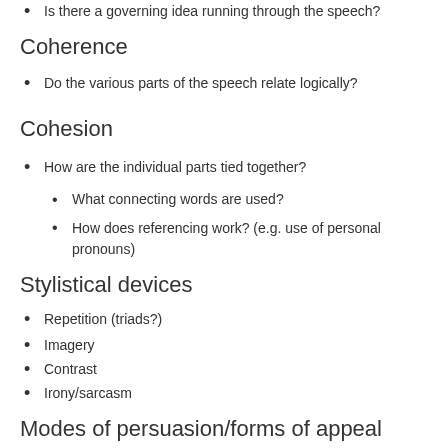Is there a governing idea running through the speech?
Coherence
Do the various parts of the speech relate logically?
Cohesion
How are the individual parts tied together?
What connecting words are used?
How does referencing work? (e.g. use of personal pronouns)
Stylistical devices
Repetition (triads?)
Imagery
Contrast
Irony/sarcasm
Modes of persuasion/forms of appeal